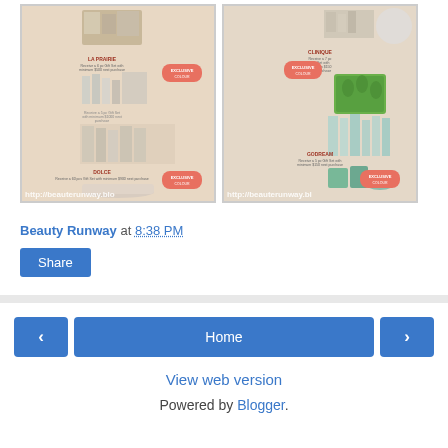[Figure (photo): Two side-by-side photos of beauty product advertisement pages. Left photo shows La Prairie and Dolce beauty brand gift sets. Right photo shows Clinique and GoDream beauty brand gift sets. Both photos have watermark 'http://beauterunway.blo']
Beauty Runway at 8:38 PM
Share
< Home > View web version Powered by Blogger.